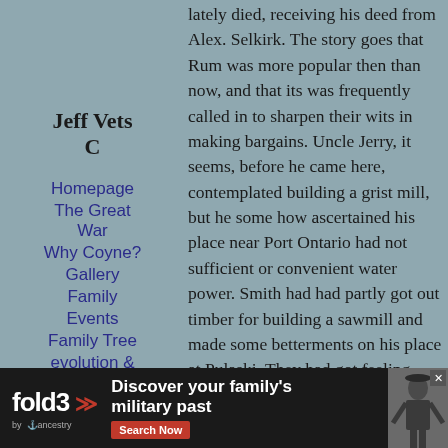Jeff Vets C
Homepage
The Great War
Why Coyne?
Gallery
Family
Events
Family Tree
evolution & 1812
Links
Contact me
My Blog
lately died, receiving his deed from Alex. Selkirk. The story goes that Rum was more popular then than now, and that its was frequently called in to sharpen their wits in making bargains. Uncle Jerry, it seems, before he came here, contemplated building a grist mill, but he some how ascertained his place near Port Ontario had not sufficient or convenient water power. Smith had had partly got out timber for building a sawmill and made some betterments on his place at Pulaski. They had got feeling fairly well over their cups and Smith had become somewhat discouraged with his mill when a proposition was made to trade. Not agreeing upon terms, they agreed to leave it out to see how they should trade. The arbitrators brought in the award, which was satisfactory to both and Uncle Jerry then became, in 1807, a land holder in Pulaski. He finished the sawmill which was placed where the mill afterwards built by A. Porter stood.
[Figure (other): fold3 by Ancestry advertisement banner: Discover your family's military past. Search Now button. soldier photo on right.]